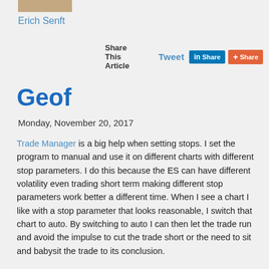[Figure (photo): Small author photo thumbnail at top left]
Erich Senft
Share This Article  Tweet  in Share  + Share
Geof
Monday, November 20, 2017
Trade Manager is a big help when setting stops. I set the program to manual and use it on different charts with different stop parameters. I do this because the ES can have different volatility even trading short term making different stop parameters work better a different time. When I see a chart I like with a stop parameter that looks reasonable, I switch that chart to auto. By switching to auto I can then let the trade run and avoid the impulse to cut the trade short or the need to sit and babysit the trade to its conclusion.